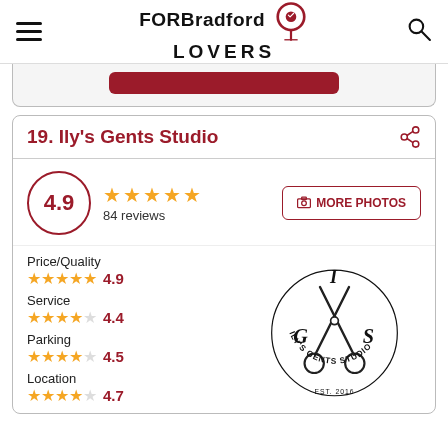FORBradford LOVERS
19. Ily's Gents Studio
4.9 — 84 reviews — MORE PHOTOS
Price/Quality 4.9
Service 4.4
Parking 4.5
Location 4.7
[Figure (logo): Ily's Gents Studio logo with scissors and text EST. 2016]